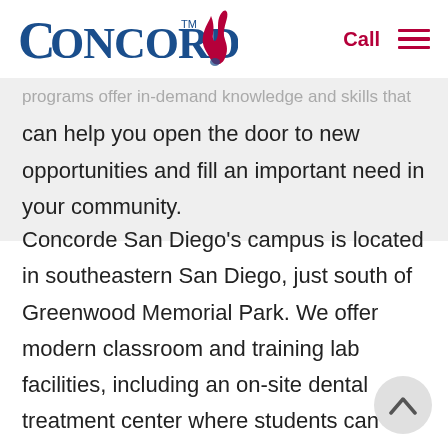[Figure (logo): Concorde Career Colleges logo with blue text and red flame]
programs offer in-demand knowledge and skills that can help you open the door to new opportunities and fill an important need in your community.
Concorde San Diego's campus is located in southeastern San Diego, just south of Greenwood Memorial Park. We offer modern classroom and training lab facilities, including an on-site dental treatment center where students can gain hands-on experience serving members of the community.